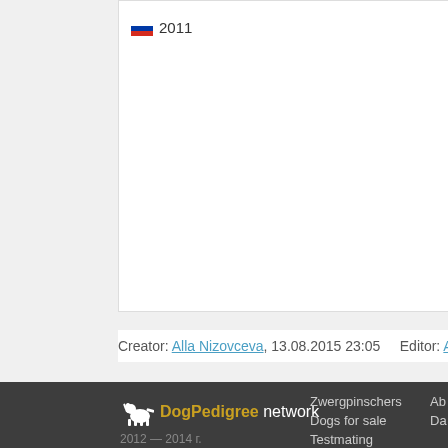2011
Ch RUS
Ten Lu
Creator: Alla Nizovceva, 13.08.2015 23:05   Editor: Alla Nizovceva
DogPedigree network  2012 — 2014 г.  Zwergpinschers  Dogs for sale  Testmating  Ab  Da